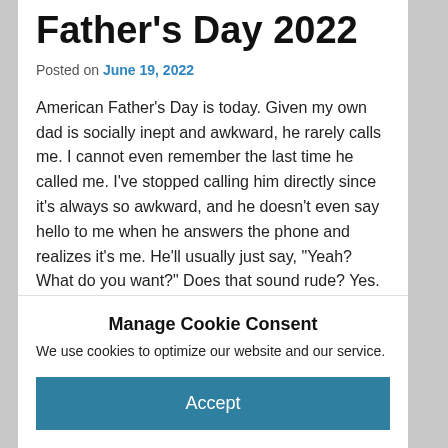Father's Day 2022
Posted on June 19, 2022
American Father's Day is today. Given my own dad is socially inept and awkward, he rarely calls me. I cannot even remember the last time he called me. I've stopped calling him directly since it's always so awkward, and he doesn't even say hello to me when he answers the phone and realizes it's me. He'll usually just say, "Yeah? What do you want?" Does that sound rude? Yes. But to him, that's just a normal response (but I can only imagine how HE would react if I responded to HIM that way if he were to
Manage Cookie Consent
We use cookies to optimize our website and our service.
Accept